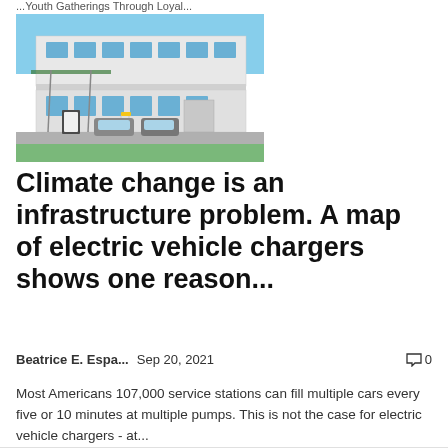...Youth Gatherings Through Loyal...
[Figure (photo): Exterior photo of a modern two-story commercial building with electric vehicle charging stations in the foreground, solar panels on a canopy, parked cars, and green grass under a blue sky.]
Climate change is an infrastructure problem. A map of electric vehicle chargers shows one reason...
Beatrice E. Espa...   Sep 20, 2021   0
Most Americans 107,000 service stations can fill multiple cars every five or 10 minutes at multiple pumps. This is not the case for electric vehicle chargers - at...